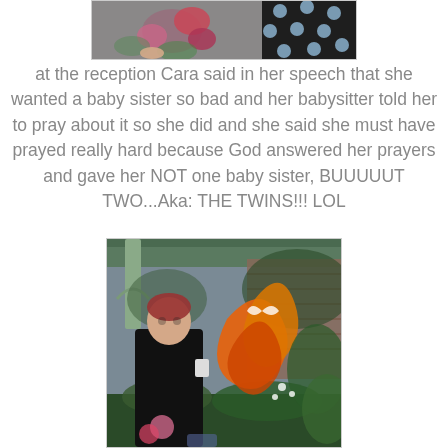[Figure (photo): Top portion of a photo showing flowers and a polka dot outfit at a reception]
at the reception Cara said in her speech that she wanted a baby sister so bad and her babysitter told her to pray about it so she did and she said she must have prayed really hard because God answered her prayers and gave her NOT one baby sister, BUUUUUT TWO...Aka: THE TWINS!!! LOL
[Figure (photo): A woman in a black outfit standing next to a large floral arrangement with autumn leaves and butterflies, under a porch with greenery]